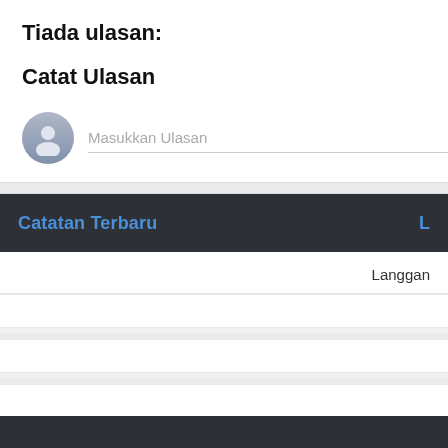Tiada ulasan:
Catat Ulasan
Masukkan Ulasan
Catatan Terbaru
Langgan